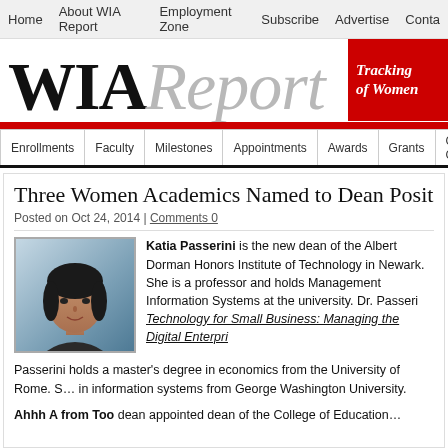Home | About WIA Report | Employment Zone | Subscribe | Advertise | Contact
[Figure (logo): WIA Report logo with italic gray 'Report' text and red banner tag reading 'Tracking of Women']
Enrollments | Faculty | Milestones | Appointments | Awards | Grants | Gender Gap | L...
Three Women Academics Named to Dean Positi...
Posted on Oct 24, 2014 | Comments 0
[Figure (photo): Headshot photo of Katia Passerini]
Katia Passerini is the new dean of the Albert Dorman Honors Institute of Technology in Newark. She is a professor and holds Management Information Systems at the university. Dr. Passeri... Technology for Small Business: Managing the Digital Enterpri...
Passerini holds a master's degree in economics from the University of Rome. S... in information systems from George Washington University.
Ahhh A from Too dean appointed dean of the College of Education...